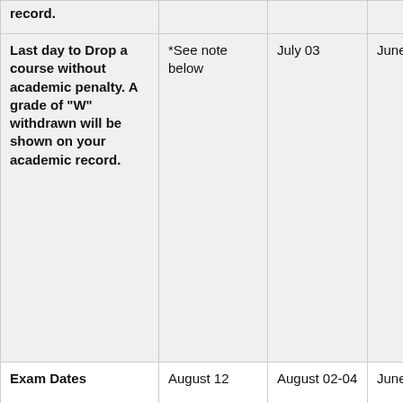|  |  |  |  |  |
| --- | --- | --- | --- | --- |
| Last day to Drop a course without academic penalty. A grade of "W" withdrawn will be shown on your academic record. | *See note below | July 03 | June 11 | May 15 | J... |
| Exam Dates | August 12 | August 02-04 | June 28-30 |  |